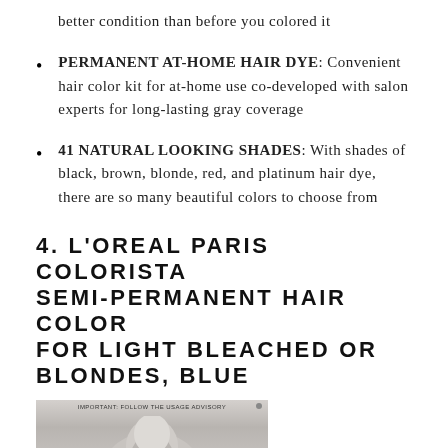better condition than before you colored it
PERMANENT AT-HOME HAIR DYE: Convenient hair color kit for at-home use co-developed with salon experts for long-lasting gray coverage
41 NATURAL LOOKING SHADES: With shades of black, brown, blonde, red, and platinum hair dye, there are so many beautiful colors to choose from
4. L'OREAL PARIS COLORISTA SEMI-PERMANENT HAIR COLOR FOR LIGHT BLEACHED OR BLONDES, BLUE
[Figure (photo): Product photo of L'Oreal Paris Colorista hair color, showing hair styled with blue color, with text IMPORTANT: FOLLOW THE USAGE ADVISORY at top]